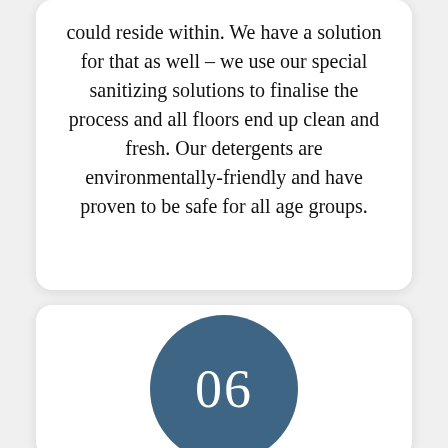could reside within. We have a solution for that as well – we use our special sanitizing solutions to finalise the process and all floors end up clean and fresh. Our detergents are environmentally-friendly and have proven to be safe for all age groups.
[Figure (other): A dark steel-blue circle containing the number 06 in white serif text, used as a decorative section number indicator.]